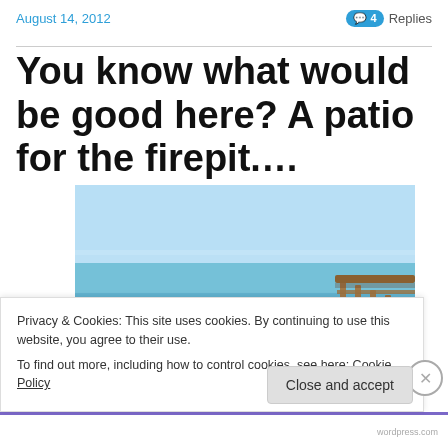August 14, 2012   4 Replies
You know what would be good here? A patio for the firepit....
[Figure (photo): Outdoor beach scene with sandy ground, ocean water, blue sky, and a wooden railing/deck on the right side.]
Privacy & Cookies: This site uses cookies. By continuing to use this website, you agree to their use.
To find out more, including how to control cookies, see here: Cookie Policy